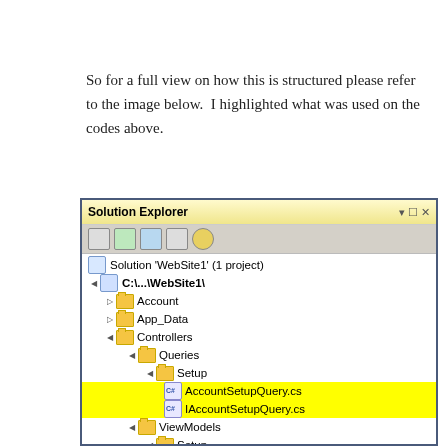So for a full view on how this is structured please refer to the image below.  I highlighted what was used on the codes above.
[Figure (screenshot): Visual Studio Solution Explorer showing file tree with C:\...\WebSite1\ project including Controllers/Queries/Setup/AccountSetupQuery.cs, IAccountSetupQuery.cs (highlighted yellow), Controllers/ViewModels/Setup/AccountSetupViewModel.cs (highlighted yellow), SetupController.cs (highlighted yellow), and Scripts folder (highlighted blue). Files AccountSetupQuery.cs and IAccountSetupQuery.cs are highlighted in yellow.]